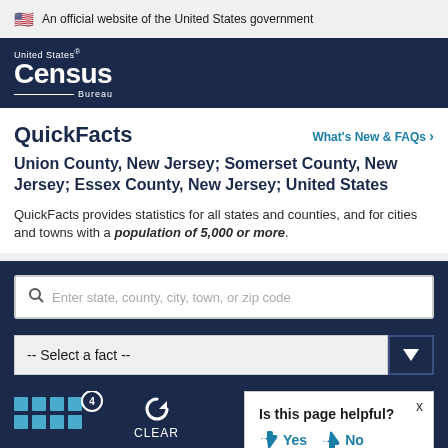An official website of the United States government
[Figure (logo): United States Census Bureau logo, white text on navy background]
QuickFacts
What's New & FAQs >
Union County, New Jersey; Somerset County, New Jersey; Essex County, New Jersey; United States
QuickFacts provides statistics for all states and counties, and for cities and towns with a population of 5,000 or more.
Enter state, county, city, town, or zip code
-- Select a fact --
CLEAR
Is this page helpful? Yes No